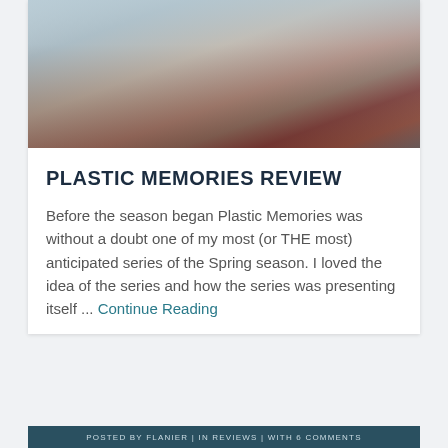[Figure (photo): Outdoor festival or event scene with white draped fabric/flags hanging from structures, colorful decorations, and a brown woven hat visible in the foreground. People and colorful objects in the background.]
PLASTIC MEMORIES REVIEW
Before the season began Plastic Memories was without a doubt one of my most (or THE most) anticipated series of the Spring season. I loved the idea of the series and how the series was presenting itself ... Continue Reading
POSTED BY FLANIER | IN REVIEWS | WITH 6 COMMENTS